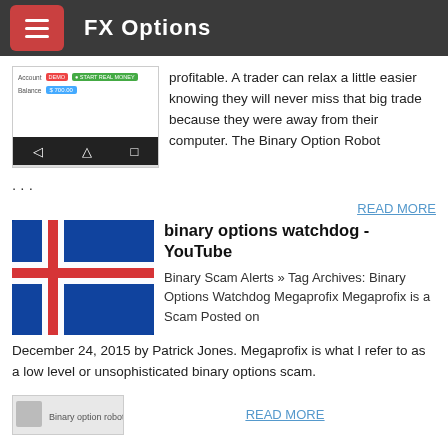FX Options
profitable. A trader can relax a little easier knowing they will never miss that big trade because they were away from their computer. The Binary Option Robot ...
[Figure (screenshot): Screenshot of a binary options trading app showing Account DEMO and START REAL MONEY button, Balance $700.00, with Android navigation bar]
READ MORE
binary options watchdog - YouTube
[Figure (illustration): Iceland flag icon with blue background and red/white cross]
Binary Scam Alerts » Tag Archives: Binary Options Watchdog Megaprofix Megaprofix is a Scam Posted on December 24, 2015 by Patrick Jones. Megaprofix is what I refer to as a low level or unsophisticated binary options scam.
READ MORE
[Figure (screenshot): Binary option robot thumbnail image (partially visible)]